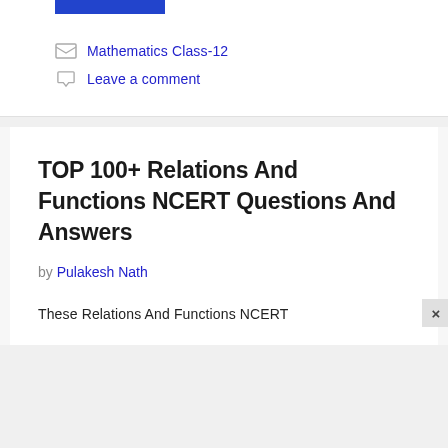[Figure (other): Blue decorative bar at top of card]
Mathematics Class-12
Leave a comment
TOP 100+ Relations And Functions NCERT Questions And Answers
by Pulakesh Nath
These Relations And Functions NCERT